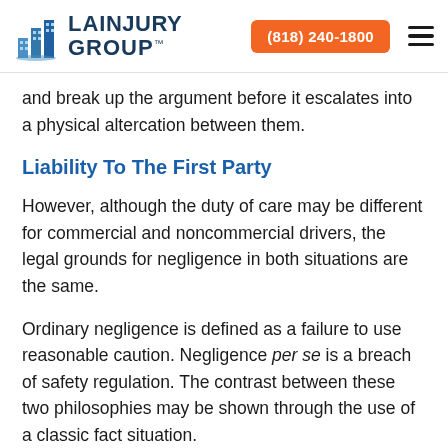LA INJURY GROUP | (818) 240-1800
and break up the argument before it escalates into a physical altercation between them.
Liability To The First Party
However, although the duty of care may be different for commercial and noncommercial drivers, the legal grounds for negligence in both situations are the same.
Ordinary negligence is defined as a failure to use reasonable caution. Negligence per se is a breach of safety regulation. The contrast between these two philosophies may be shown through the use of a classic fact situation.